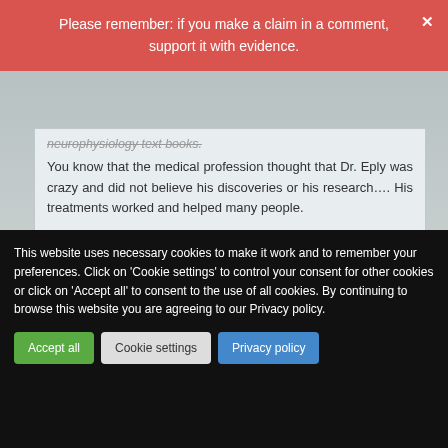Please remember: if you make a claim in a comment, support it with evidence.
neurophysiology text books.
You know that the medical profession thought that Dr. Eply was crazy and did not believe his discoveries or his research…. His treatments worked and helped many people.
Edzard on Monday 23 April 2018 at 16:01
This website uses necessary cookies to make it work and to remember your preferences. Click on 'Cookie settings' to control your consent for other cookies or click on 'Accept all' to consent to the use of all cookies. By continuing to browse this website you are agreeing to our Privacy policy.